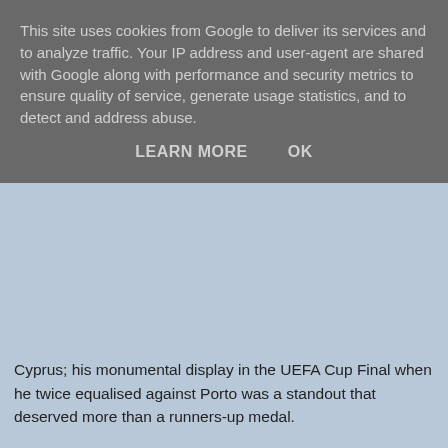This site uses cookies from Google to deliver its services and to analyze traffic. Your IP address and user-agent are shared with Google along with performance and security metrics to ensure quality of service, generate usage statistics, and to detect and address abuse.
LEARN MORE    OK
Cyprus; his monumental display in the UEFA Cup Final when he twice equalised against Porto was a standout that deserved more than a runners-up medal.
We should also remember as Celtic and Rangers face up to some harsh financial reality that this was a player who cost only £650,000. And that bought the best player I've had the privilege to see in the SPL.
Unknown at 18:50
Share
Bargain basement battle